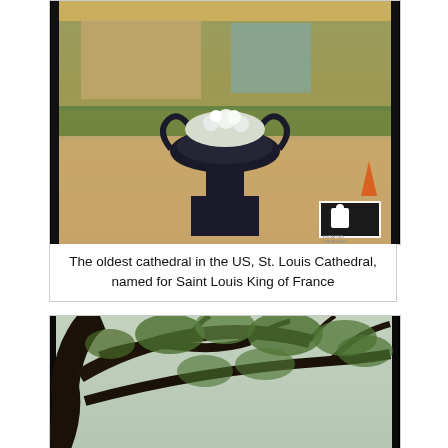[Figure (photo): Outdoor photo of a large ornate dark iron urn/planter filled with white flowers on a pedestal, set in a plaza or park with green trees and buildings visible in the background. A small watermark logo appears in the bottom-right corner.]
The oldest cathedral in the US, St. Louis Cathedral, named for Saint Louis King of France
[Figure (photo): Photo looking up through a large tree canopy with thick, spreading dark branches and green leaves against a bright sky.]